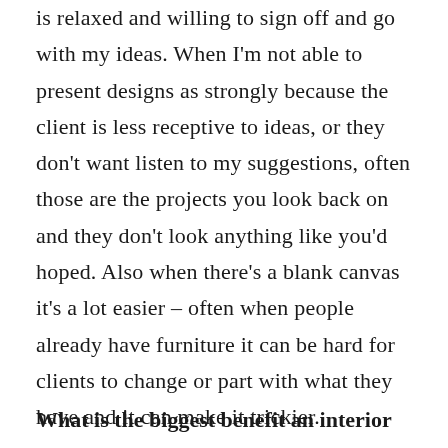is relaxed and willing to sign off and go with my ideas. When I'm not able to present designs as strongly because the client is less receptive to ideas, or they don't want listen to my suggestions, often those are the projects you look back on and they don't look anything like you'd hoped. Also when there's a blank canvas it's a lot easier – often when people already have furniture it can be hard for clients to change or part with what they have and it can make it trickier.
What is the biggest benefit an interior